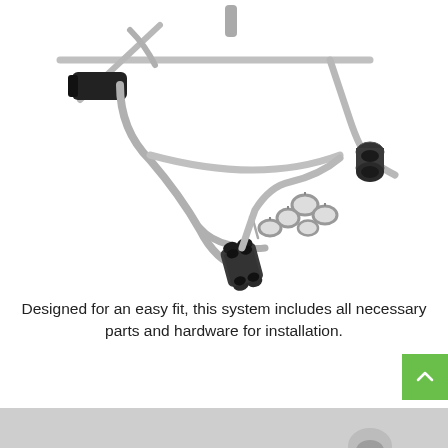[Figure (photo): Product photo of a dual exhaust system kit laid out showing stainless steel pipes, black dual exhaust tips, clamps, and hardware on white background]
Designed for an easy fit, this system includes all necessary parts and hardware for installation.
[Figure (photo): Partial view of another exhaust system product on a gray background, cropped at bottom of page]